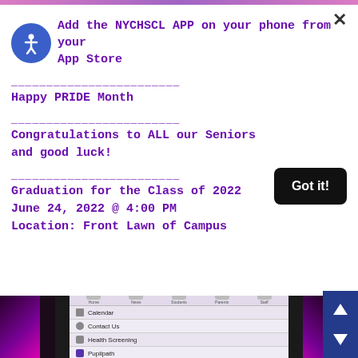Add the NYCHSCL APP on your phone from your App Store
Happy PRIDE Month
Congratulations to ALL our Seniors and good luck!
Graduation for the Class of 2022
June 24, 2022 @ 4:00 PM
Location: Front Lawn of Campus
[Figure (screenshot): Screenshot of the NYCHSCL mobile app showing menu items: Calendar, Contact Us, Health Screening, Pupilpath, Resources & Updates. Navigation arrows (up/down) visible on right side. Purple gradient background on sides.]